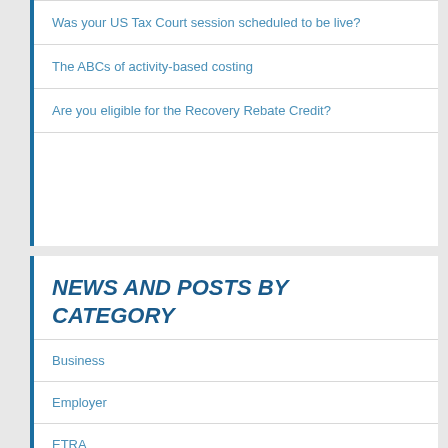Was your US Tax Court session scheduled to be live?
The ABCs of activity-based costing
Are you eligible for the Recovery Rebate Credit?
NEWS AND POSTS BY CATEGORY
Business
Employer
ETRA